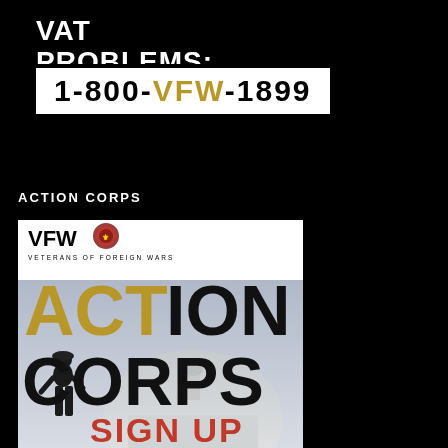VAT PROBLEMS: LET US HELP.
1-800-VFW-1899
ACTION CORPS
[Figure (illustration): VFW Action Corps promotional poster featuring large text 'ACTION CORPS' with ACT in gold and ION/CORPS in black, VFW Veterans of Foreign Wars logo at top, a soldier silhouette figure in front of a Capitol dome background, and 'SIGN UP' in red at the bottom.]